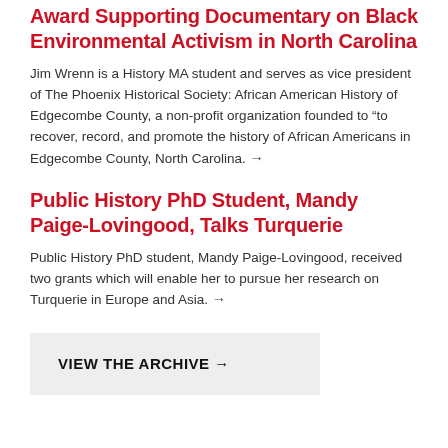Award Supporting Documentary on Black Environmental Activism in North Carolina
Jim Wrenn is a History MA student and serves as vice president of The Phoenix Historical Society: African American History of Edgecombe County, a non-profit organization founded to “to recover, record, and promote the history of African Americans in Edgecombe County, North Carolina. →
Public History PhD Student, Mandy Paige-Lovingood, Talks Turquerie
Public History PhD student, Mandy Paige-Lovingood, received two grants which will enable her to pursue her research on Turquerie in Europe and Asia. →
VIEW THE ARCHIVE →